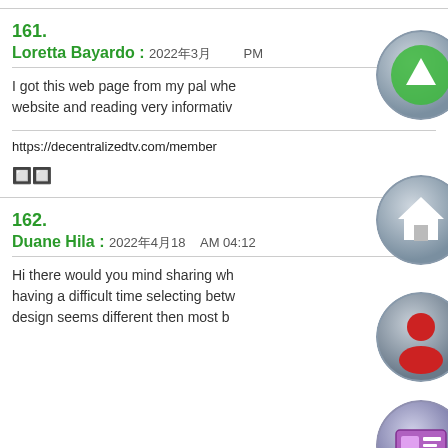161.
Loretta Bayardo : 2022年3月 PM
I got this web page from my pal who website and reading very informativ
https://decentralizedtv.com/member
🔲🔲
162.
Duane Hila : 2022年4月18 AM 04:12
Hi there would you mind sharing wh having a difficult time selecting betw design seems different then most b